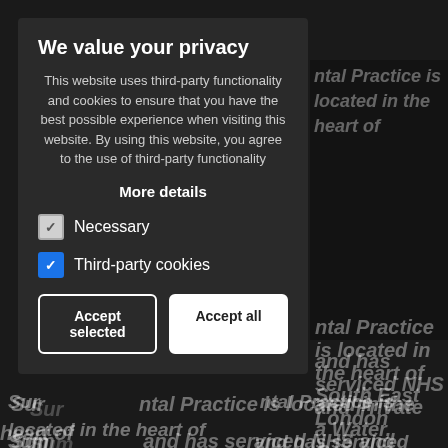[Figure (screenshot): Dark background showing a dental practice website partially visible behind a privacy consent overlay]
We value your privacy
This website uses third-party functionality and cookies to ensure that you have the best possible experience when visiting this website. By using this website, you agree to the use of third-party functionality
More details
Necessary
Third-party cookies
Accept selected
Accept all